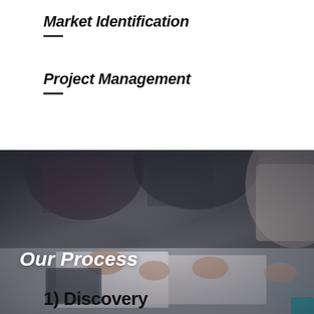Market Identification
Project Management
[Figure (photo): Group of people collaborating around a table covered with papers and documents, view from above showing hands and arms reaching across the table. Text overlay reads 'Our Process'.]
1) Discovery